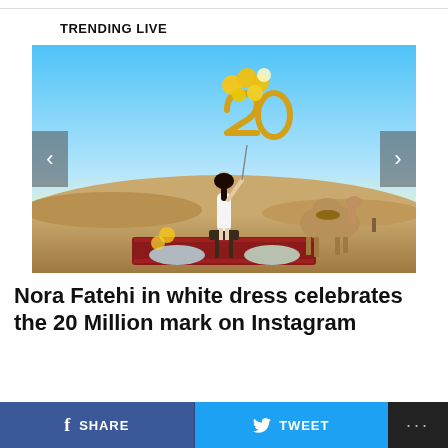TRENDING LIVE
[Figure (photo): Woman in white dress standing on a table on a red carpet in the desert, holding gold '20' shaped balloons and round yellow balloons, with a camel to the right, desert landscape and blue sky background]
Nora Fatehi in white dress celebrates the 20 Million mark on Instagram
SHARE   TWEET   ...